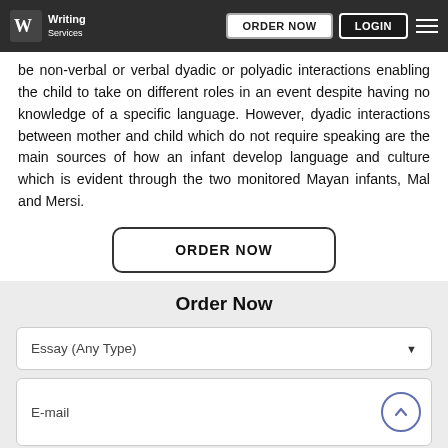Writing Services | ORDER NOW | LOGIN
be non-verbal or verbal dyadic or polyadic interactions enabling the child to take on different roles in an event despite having no knowledge of a specific language. However, dyadic interactions between mother and child which do not require speaking are the main sources of how an infant develop language and culture which is evident through the two monitored Mayan infants, Mal and Mersi.
ORDER NOW
Order Now
Essay (Any Type)
E-mail